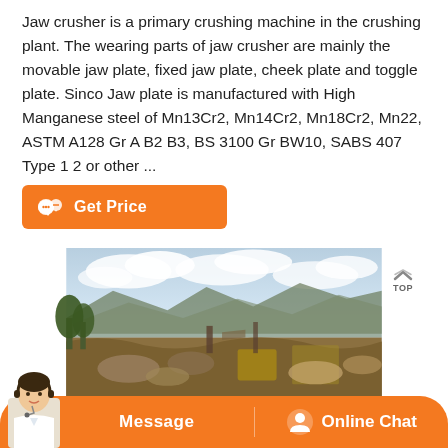Jaw crusher is a primary crushing machine in the crushing plant. The wearing parts of jaw crusher are mainly the movable jaw plate, fixed jaw plate, cheek plate and toggle plate. Sinco Jaw plate is manufactured with High Manganese steel of Mn13Cr2, Mn14Cr2, Mn18Cr2, Mn22, ASTM A128 Gr A B2 B3, BS 3100 Gr BW10, SABS 407 Type 1 2 or other ...
[Figure (other): Orange 'Get Price' button with chat bubble icon]
[Figure (photo): Outdoor mining/crushing plant site with mountains and cloudy sky in background, heavy equipment and rocky terrain visible]
[Figure (other): Bottom navigation bar with orange background showing Message and Online Chat buttons, with customer service representative photo on left]